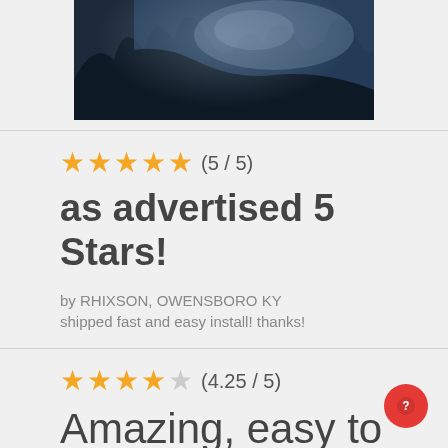[Figure (photo): Partial photo of a car windshield/window with trees and sky reflected]
★★★★★ (5 / 5)
as advertised 5 Stars!
by RHIXSON, OWENSBORO KY
shipped fast and easy install! thanks!
★★★★☆ (4.25 / 5)
Amazing, easy to